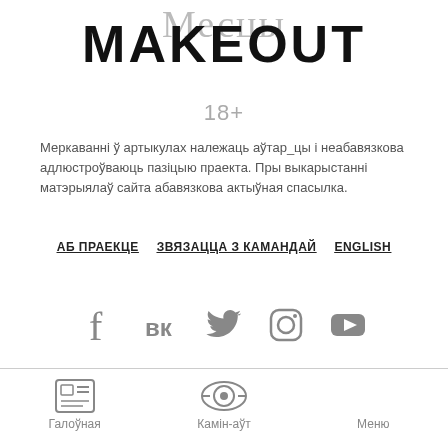MAKEOUT / Месцы
18+
Меркаванні ў артыкулах належаць аўтар_цы і неабавязкова адлюстроўваюць пазіцыю праекта. Пры выкарыстанні матэрыялаў сайта абавязкова актыўная спасылка.
АБ ПРАЕКЦЕ   ЗВЯЗАЦЦА З КАМАНДАЙ   ENGLISH
[Figure (infographic): Social media icons: Facebook, VK, Twitter, Instagram, YouTube]
Галоўная   Камін-аўт   Меню